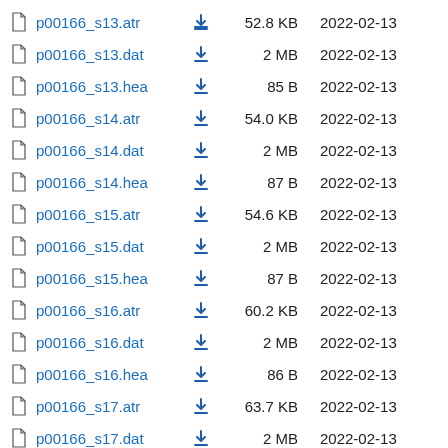p00166_s13.atr  52.8 KB  2022-02-13
p00166_s13.dat  2 MB  2022-02-13
p00166_s13.hea  85 B  2022-02-13
p00166_s14.atr  54.0 KB  2022-02-13
p00166_s14.dat  2 MB  2022-02-13
p00166_s14.hea  87 B  2022-02-13
p00166_s15.atr  54.6 KB  2022-02-13
p00166_s15.dat  2 MB  2022-02-13
p00166_s15.hea  87 B  2022-02-13
p00166_s16.atr  60.2 KB  2022-02-13
p00166_s16.dat  2 MB  2022-02-13
p00166_s16.hea  86 B  2022-02-13
p00166_s17.atr  63.7 KB  2022-02-13
p00166_s17.dat  2 MB  2022-02-13